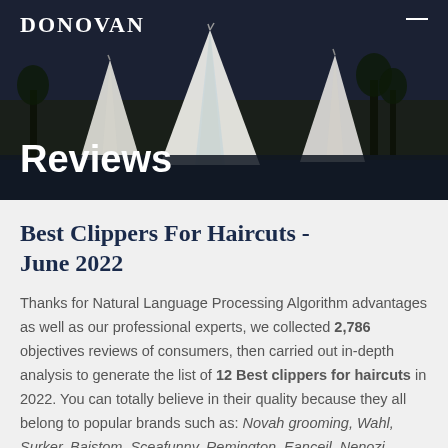DONOVAN
Reviews
Best Clippers For Haircuts - June 2022
Thanks for Natural Language Processing Algorithm advantages as well as our professional experts, we collected 2,786 objectives reviews of consumers, then carried out in-depth analysis to generate the list of 12 Best clippers for haircuts in 2022. You can totally believe in their quality because they all belong to popular brands such as: Novah grooming, Wahl, Surker, Baistom, Sceafunny, Remington, Eanceil, Nenozi.
Products Suggest
Related Reviews
Knowledge